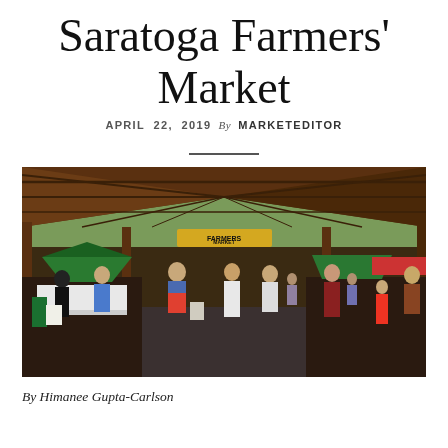Saratoga Farmers' Market
APRIL 22, 2019 By MARKETEDITOR
[Figure (photo): Interior view of the Saratoga Farmers' Market pavilion with a wooden roof structure, vendor stalls with green tents, and shoppers browsing. A yellow 'Farmers Market' sign is visible on a beam in the background.]
By Himanee Gupta-Carlson